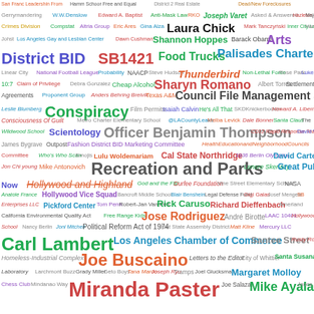[Figure (infographic): Word cloud containing names, places, organizations, and topics related to Los Angeles city government, politics, and culture. Terms vary in size, color, and position indicating frequency or relevance. Includes names like Miranda Paster, Joe Buscaino, Carl Lambert, Laura Chick, Sharyn Romano, Officer Benjamin Thompson, Recreation and Parks, District BID, SB1421, Palisades Charter High School, Food Trucks, Conspiracy, Council File Management System, and many others.]